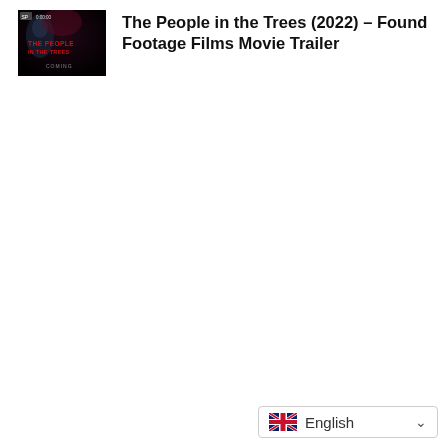[Figure (other): Movie thumbnail for 'The People in the Trees (2022)' showing a dark horror-style poster with red text reading 'THE PEOPLE IN THE TREES' and 'COMING' at bottom. Background shows a mysterious figure with eerie lighting.]
The People in the Trees (2022) – Found Footage Films Movie Trailer
English